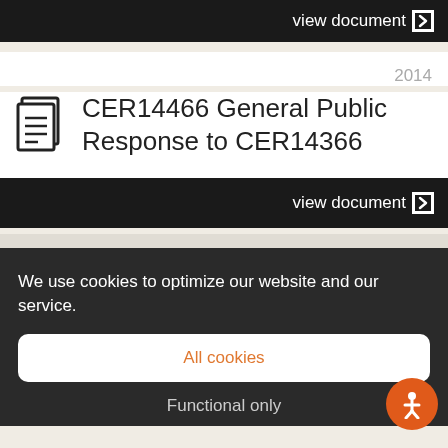view document
2014
CER14466 General Public Response to CER14366
view document
We use cookies to optimize our website and our service.
All cookies
Functional only